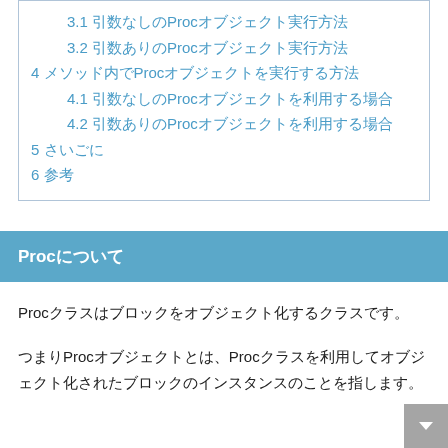3.1 引数なしのProcオブジェクト実行方法
3.2 引数ありのProcオブジェクト実行方法
4 メソッド内でProcオブジェクトを実行する方法
4.1 引数なしのProcオブジェクトを利用する場合
4.2 引数ありのProcオブジェクトを利用する場合
5 さいごに
6 参考
Procについて
Procクラスはブロックをオブジェクト化するクラスです。
つまりProcオブジェクトとは、Procクラスを利用してオブジェクト化されたブロックのインスタンスのことをいます。